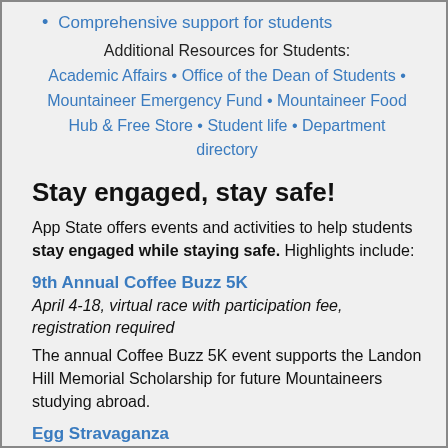Comprehensive support for students
Additional Resources for Students:
Academic Affairs • Office of the Dean of Students • Mountaineer Emergency Fund • Mountaineer Food Hub & Free Store • Student life • Department directory
Stay engaged, stay safe!
App State offers events and activities to help students stay engaged while staying safe. Highlights include:
9th Annual Coffee Buzz 5K
April 4-18, virtual race with participation fee, registration required
The annual Coffee Buzz 5K event supports the Landon Hill Memorial Scholarship for future Mountaineers studying abroad.
Egg Stravaganza